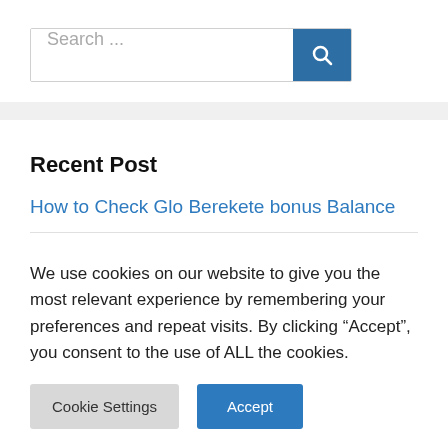[Figure (screenshot): Search bar with text input placeholder 'Search ...' and a dark blue search button with magnifying glass icon]
Recent Post
How to Check Glo Berekete bonus Balance
We use cookies on our website to give you the most relevant experience by remembering your preferences and repeat visits. By clicking “Accept”, you consent to the use of ALL the cookies.
Cookie Settings | Accept